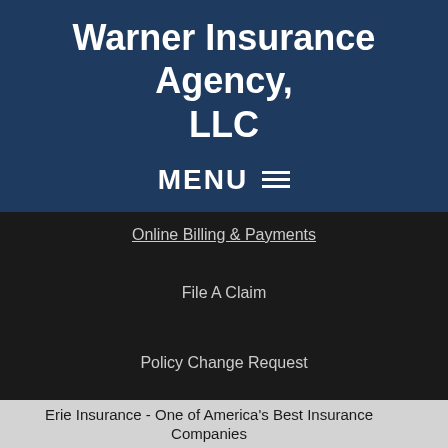Warner Insurance Agency, LLC
MENU
Online Billing & Payments
File A Claim
Policy Change Request
Erie Insurance - One of America's Best Insurance Companies